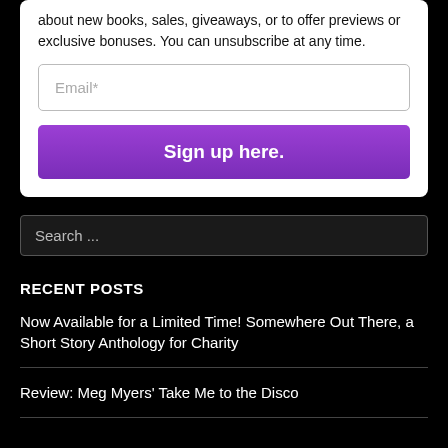about new books, sales, giveaways, or to offer previews or exclusive bonuses. You can unsubscribe at any time.
Email*
Sign up here.
Search ...
RECENT POSTS
Now Available for a Limited Time! Somewhere Out There, a Short Story Anthology for Charity
Review: Meg Myers' Take Me to the Disco